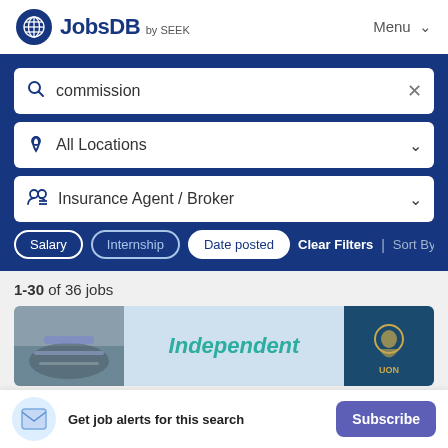[Figure (logo): JobsDB by SEEK logo with blue globe icon]
Menu
commission  ×
All Locations
Insurance Agent / Broker
Salary  Internship  Date posted  Clear Filters  | Sort By Rele
1-30 of 36 jobs
[Figure (screenshot): Job listing banner for Independent position showing hands and a lion logo (UON)]
Get job alerts for this search  Subscribe